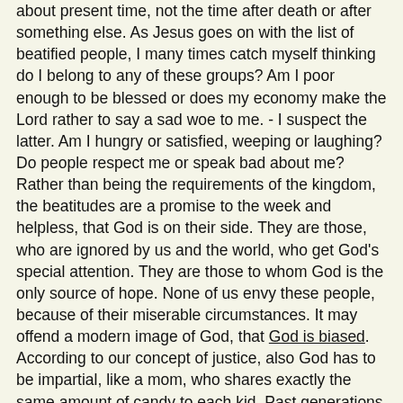about present time, not the time after death or after something else.  As Jesus goes on with the list of beatified people, I many times catch myself thinking do I belong to any of these groups? Am I poor enough to be blessed or does my economy make the Lord rather to say a sad woe to me. - I suspect the latter. Am I hungry or satisfied, weeping or laughing? Do people respect me or speak bad about me? Rather than being the requirements of the kingdom, the beatitudes are a promise to the week and helpless, that God is on their side. They are those, who are ignored by us and the world, who get God's special attention. They are those to whom God is the only source of hope. None of us envy these people, because of their miserable circumstances. It may offend a modern image of God, that God is biased. According to our concept of justice, also God has to be impartial, like a mom, who shares exactly the same amount of candy to each kid. Past generations